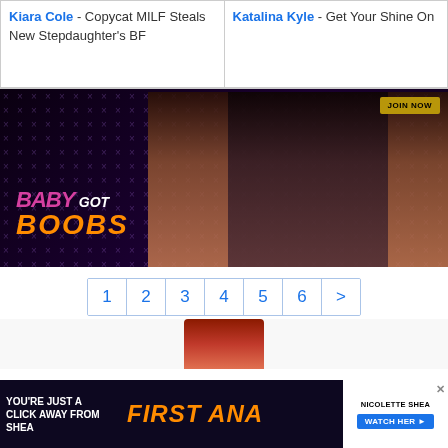Kiara Cole - Copycat MILF Steals New Stepdaughter's BF
Katalina Kyle - Get Your Shine On
[Figure (photo): Baby Got Boobs adult website advertisement banner featuring two women and branded logo with JOIN NOW button]
Pagination: 1 2 3 4 5 6 >
[Figure (photo): Bottom advertisement banner: YOU'RE JUST A CLICK AWAY FROM SHEA / FIRST ANA... / NICOLETTE SHEA / WATCH HER >]